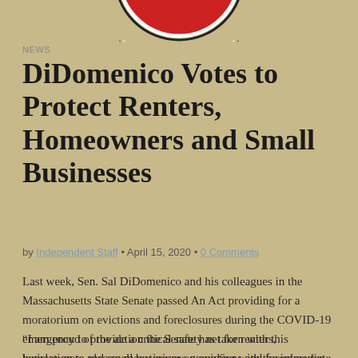[Figure (logo): Circular logo with red top half and white/black border, partially visible at top of page]
NEWS
DiDomenico Votes to Protect Renters, Homeowners and Small Businesses
by Independent Staff • April 15, 2020 • 0 Comments
Last week, Sen. Sal DiDomenico and his colleagues in the Massachusetts State Senate passed An Act providing for a moratorium on evictions and foreclosures during the COVID-19 emergency to provide a critical safety net for renters, homeowners and small businesses grappling with the immediate economic fallout of the current public health pandemic.
“I am proud of the action the Senate has taken with this legislation to place a moratorium on evictions and foreclosures